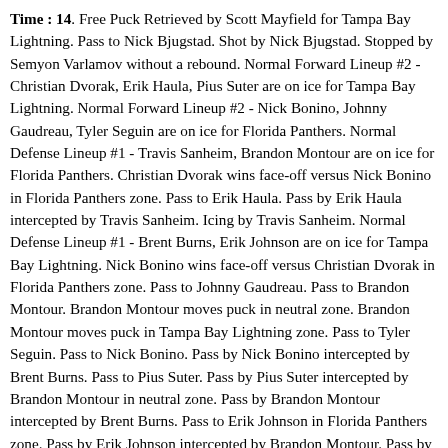Time : 14. Free Puck Retrieved by Scott Mayfield for Tampa Bay Lightning. Pass to Nick Bjugstad. Shot by Nick Bjugstad. Stopped by Semyon Varlamov without a rebound. Normal Forward Lineup #2 - Christian Dvorak, Erik Haula, Pius Suter are on ice for Tampa Bay Lightning. Normal Forward Lineup #2 - Nick Bonino, Johnny Gaudreau, Tyler Seguin are on ice for Florida Panthers. Normal Defense Lineup #1 - Travis Sanheim, Brandon Montour are on ice for Florida Panthers. Christian Dvorak wins face-off versus Nick Bonino in Florida Panthers zone. Pass to Erik Haula. Pass by Erik Haula intercepted by Travis Sanheim. Icing by Travis Sanheim. Normal Defense Lineup #1 - Brent Burns, Erik Johnson are on ice for Tampa Bay Lightning. Nick Bonino wins face-off versus Christian Dvorak in Florida Panthers zone. Pass to Johnny Gaudreau. Pass to Brandon Montour. Brandon Montour moves puck in neutral zone. Brandon Montour moves puck in Tampa Bay Lightning zone. Pass to Tyler Seguin. Pass to Nick Bonino. Pass by Nick Bonino intercepted by Brent Burns. Pass to Pius Suter. Pass by Pius Suter intercepted by Brandon Montour in neutral zone. Pass by Brandon Montour intercepted by Brent Burns. Pass to Erik Johnson in Florida Panthers zone. Pass by Erik Johnson intercepted by Brandon Montour. Pass by Brandon Montour intercepted by Brent Burns in neutral zone. Pass to Erik Haula in Florida Panthers zone. Pass to Pius Suter. Pius Suter is hit by Travis Sanheim and loses puck. Free Puck Retrieved by Travis Sanheim for Florida Panthers. Pass to Johnny Gaudreau. Johnny Gaudreau moves puck